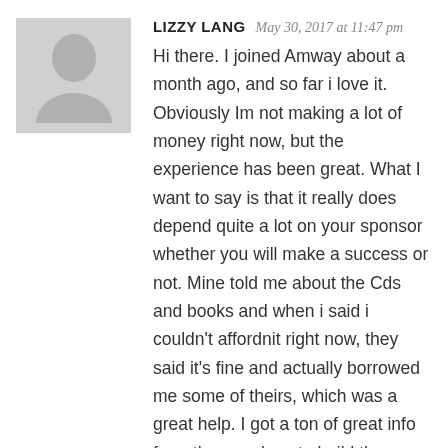[Figure (illustration): Grey avatar placeholder image showing a generic person silhouette (head and shoulders) on a grey background]
LIZZY LANG   May 30, 2017 at 11:47 pm
Hi there. I joined Amway about a month ago, and so far i love it. Obviously Im not making a lot of money right now, but the experience has been great. What I want to say is that it really does depend quite a lot on your sponsor whether you will make a success or not. Mine told me about the Cds and books and when i said i couldn't affordnit right now, they said it's fine and actually borrowed me some of theirs, which was a great help. I got a ton of great info from them on how to build the business in a respectable manner. In a